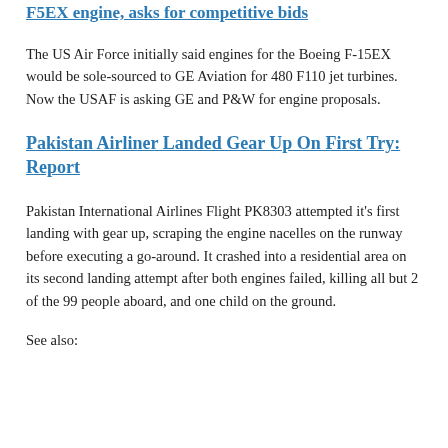F15EX engine, asks for competitive bids
The US Air Force initially said engines for the Boeing F-15EX would be sole-sourced to GE Aviation for 480 F110 jet turbines. Now the USAF is asking GE and P&W for engine proposals.
Pakistan Airliner Landed Gear Up On First Try: Report
Pakistan International Airlines Flight PK8303 attempted it's first landing with gear up, scraping the engine nacelles on the runway before executing a go-around. It crashed into a residential area on its second landing attempt after both engines failed, killing all but 2 of the 99 people aboard, and one child on the ground.
See also: